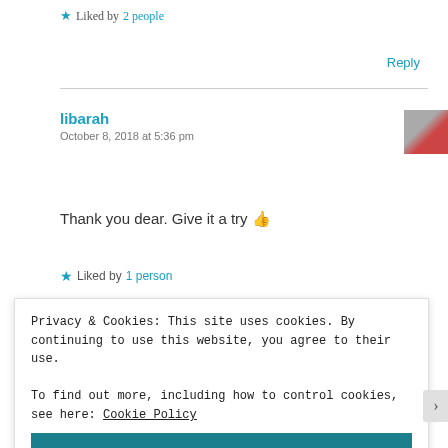★ Liked by 2 people
Reply
libarah
October 8, 2018 at 5:36 pm
Thank you dear. Give it a try 👍
★ Liked by 1 person
Privacy & Cookies: This site uses cookies. By continuing to use this website, you agree to their use.
To find out more, including how to control cookies, see here: Cookie Policy
Close and accept